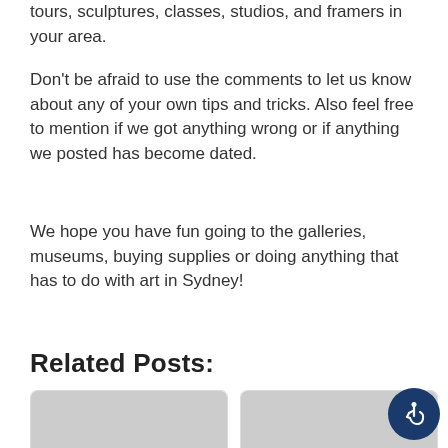tours, sculptures, classes, studios, and framers in your area.
Don't be afraid to use the comments to let us know about any of your own tips and tricks. Also feel free to mention if we got anything wrong or if anything we posted has become dated.
We hope you have fun going to the galleries, museums, buying supplies or doing anything that has to do with art in Sydney!
Related Posts:
[Figure (other): Card thumbnail for Gold Coast Art Galleries, Museums...]
[Figure (other): Card thumbnail for Adelaide Art Galleries, Museums...]